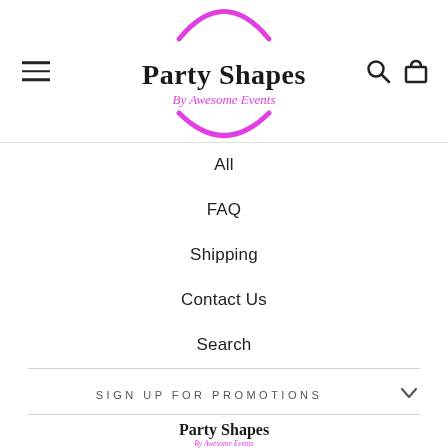[Figure (logo): Party Shapes by Awesome Events logo with pink arc above and below the text]
All
FAQ
Shipping
Contact Us
Search
SIGN UP FOR PROMOTIONS
[Figure (logo): Party Shapes by Awesome Events small footer logo]